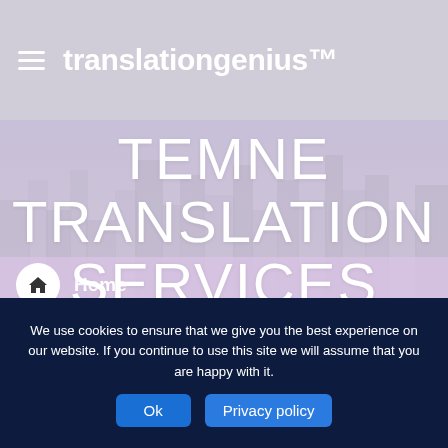translationgenius™
TEMNE TRANSLATION SERVICES
[Figure (screenshot): City skyline background image, grayscale, blurred, behind the hero title area]
Home
Search
We use cookies to ensure that we give you the best experience on our website. If you continue to use this site we will assume that you are happy with it.
Ok
Privacy policy